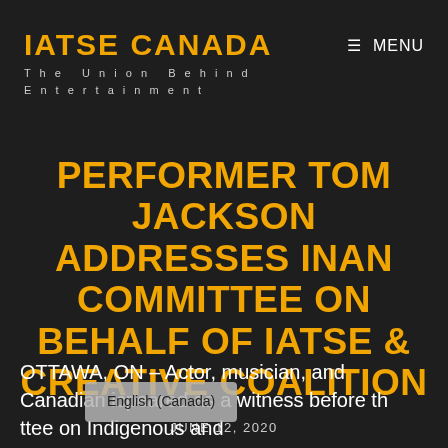IATSE CANADA
The Union Behind Entertainment
≡ MENU
PERFORMER TOM JACKSON ADDRESSES INAN COMMITTEE ON BEHALF OF IATSE & CREATIVE COALITION
JUNE 12, 2020
OTTAWA, ON – Actor, musician, and Canadian ic…peared as a witness before th…ttee on Indigenous and
English (Canada)